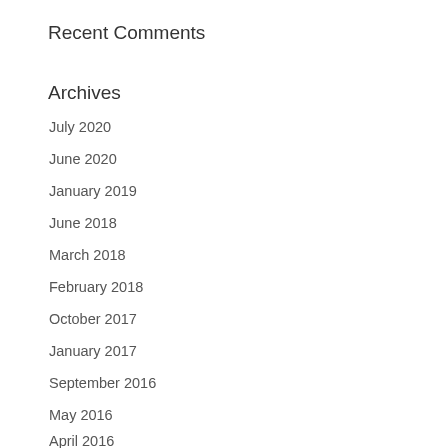Recent Comments
Archives
July 2020
June 2020
January 2019
June 2018
March 2018
February 2018
October 2017
January 2017
September 2016
May 2016
April 2016